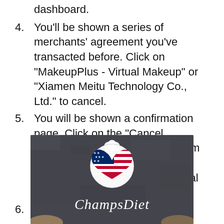dashboard.
4. You'll be shown a series of merchants' agreement you've transacted before. Click on "MakeupPlus - Virtual Makeup" or "Xiamen Meitu Technology Co., Ltd." to cancel.
5. You will be shown a confirmation page. Click on the "Cancel Automatic Payments" tab to affirm that you want to stop making payments to MakeupPlus - Virtual Makeup.
6. Then click "Done" on the verification page to complete the unsubscription.
[Figure (photo): ChampsDiet logo on dark textured background featuring a heart with American flag pattern and chef hat, with cursive text 'ChampsDiet' below]